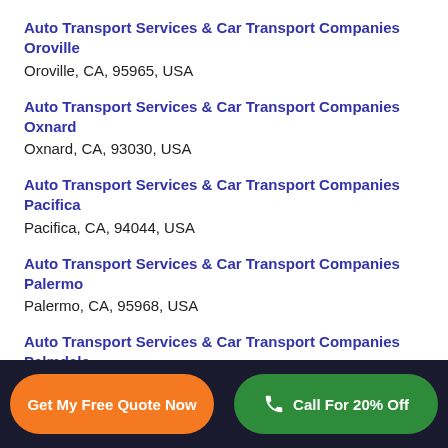Auto Transport Services & Car Transport Companies Oroville
Oroville, CA, 95965, USA
Auto Transport Services & Car Transport Companies Oxnard
Oxnard, CA, 93030, USA
Auto Transport Services & Car Transport Companies Pacifica
Pacifica, CA, 94044, USA
Auto Transport Services & Car Transport Companies Palermo
Palermo, CA, 95968, USA
Auto Transport Services & Car Transport Companies Palmdale
Get My Free Quote Now   Call For 20% Off